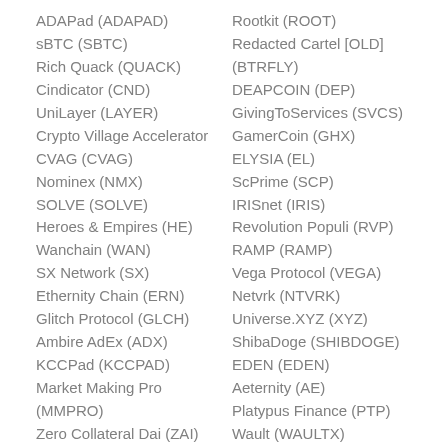ADAPad (ADAPAD)
sBTC (SBTC)
Rich Quack (QUACK)
Cindicator (CND)
UniLayer (LAYER)
Crypto Village Accelerator CVAG (CVAG)
Nominex (NMX)
SOLVE (SOLVE)
Heroes & Empires (HE)
Wanchain (WAN)
SX Network (SX)
Ethernity Chain (ERN)
Glitch Protocol (GLCH)
Ambire AdEx (ADX)
KCCPad (KCCPAD)
Market Making Pro (MMPRO)
Zero Collateral Dai (ZAI)
Rootkit (ROOT)
Redacted Cartel [OLD] (BTRFLY)
DEAPCOIN (DEP)
GivingToServices (SVCS)
GamerCoin (GHX)
ELYSIA (EL)
ScPrime (SCP)
IRISnet (IRIS)
Revolution Populi (RVP)
RAMP (RAMP)
Vega Protocol (VEGA)
Netvrk (NTVRK)
Universe.XYZ (XYZ)
ShibaDoge (SHIBDOGE)
EDEN (EDEN)
Aeternity (AE)
Platypus Finance (PTP)
Wault (WAULTX)